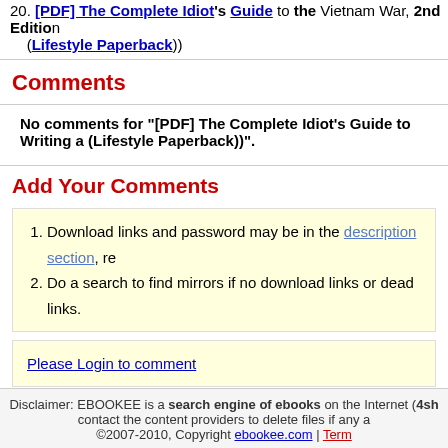20. [PDF] The Complete Idiot's Guide to the Vietnam War, 2nd Edition (Lifestyle Paperback))
Comments
No comments for "[PDF] The Complete Idiot's Guide to Writing a (Lifestyle Paperback))".
Add Your Comments
1. Download links and password may be in the description section, re
2. Do a search to find mirrors if no download links or dead links.
Please Login to comment
Disclaimer: EBOOKEE is a search engine of ebooks on the Internet (4sh contact the content providers to delete files if any a ©2007-2010, Copyright ebookee.com | Term